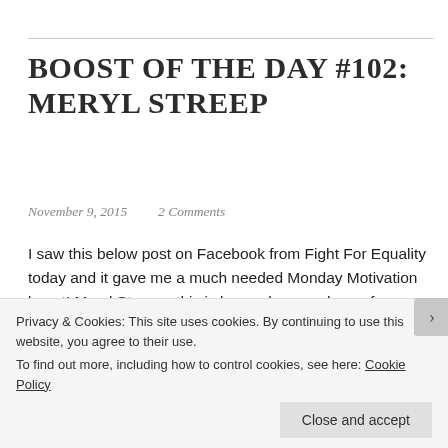BOOST OF THE DAY #102: MERYL STREEP
November 9, 2015   2 Comments
I saw this below post on Facebook from Fight For Equality today and it gave me a much needed Monday Motivation boost! Meryl Streep - this is her on her way home from an audition for King Kong where she was told she was
Privacy & Cookies: This site uses cookies. By continuing to use this website, you agree to their use.
To find out more, including how to control cookies, see here: Cookie Policy